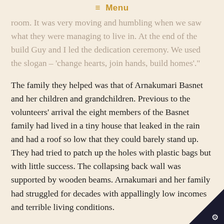≡ Menu
room. It was very moving and humbling when we saw what they were managing to live in. At the end of the build Guy and I led the dedication ceremony. We used the slogan – 'change hearts, join hands, build homes'."
The family they helped was that of Arnakumari Basnet and her children and grandchildren. Previous to the volunteers' arrival the eight members of the Basnet family had lived in a tiny house that leaked in the rain and had a roof so low that they could barely stand up. They had tried to patch up the holes with plastic bags but with little success. The collapsing back wall was supported by wooden beams. Arnakumari and her family had struggled for decades with appallingly low incomes and terrible living conditions.
The two couples were involved in building walls, mixing and applying render made with cow-d…